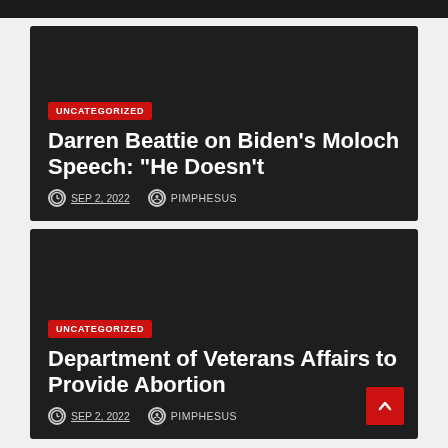[Figure (screenshot): Dark top bar element at very top of page]
UNCATEGORIZED
Darren Beattie on Biden's Moloch Speech: "He Doesn't
SEP 2, 2022   PIMPHESUS
UNCATEGORIZED
Department of Veterans Affairs to Provide Abortion
SEP 2, 2022   PIMPHESUS